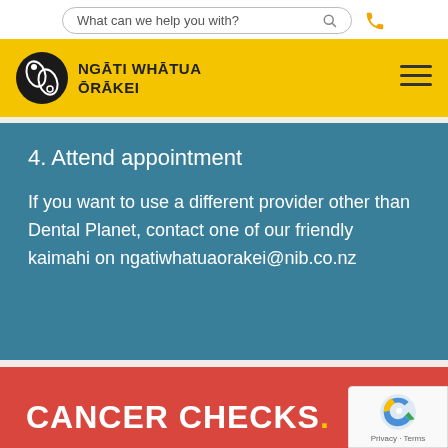What can we help you with?
NGĀTI WHĀTUA ŌRĀKEI
4. Attend appointment
If you want to use a different provider other than Dental Planet, contact one of our friendly kaimahi on ngatiwhatuaorakei@nib.co.nz
CANCER CHECKS.